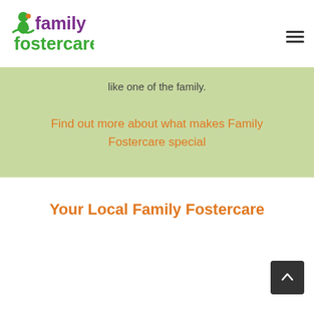family fostercare
like one of the family.
Find out more about what makes Family Fostercare special
Your Local Family Fostercare